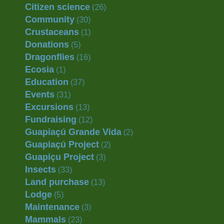Citizen science (26)
Community (30)
Crustaceans (1)
Donations (5)
Dragonflies (16)
Ecosia (1)
Education (37)
Events (31)
Excursions (13)
Fundraising (12)
Guapiaçú Grande Vida (2)
Guapiaçú Project (2)
Guapiçu Project (3)
Insects (33)
Land purchase (13)
Lodge (5)
Maintenance (3)
Mammals (23)
Moths (11)
New species (?)